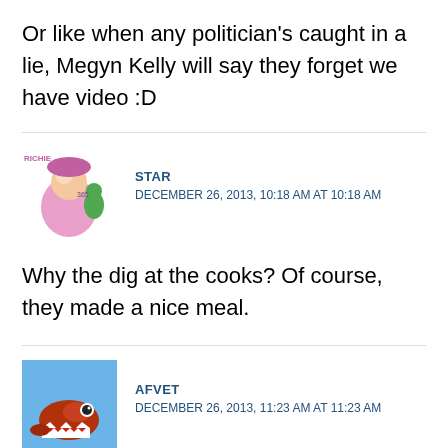Or like when any politician's caught in a lie, Megyn Kelly will say they forget we have video :D
[Figure (illustration): User avatar for STAR: cartoon illustration of characters]
STAR
DECEMBER 26, 2013, 10:18 AM AT 10:18 AM
Why the dig at the cooks? Of course, they made a nice meal.
[Figure (photo): User avatar for AFVET: photo of aircraft with shark mouth nose art]
AFVET
DECEMBER 26, 2013, 11:23 AM AT 11:23 AM